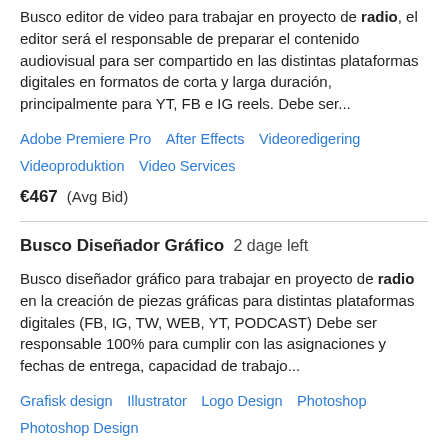Busco editor de video para trabajar en proyecto de radio, el editor será el responsable de preparar el contenido audiovisual para ser compartido en las distintas plataformas digitales en formatos de corta y larga duración, principalmente para YT, FB e IG reels. Debe ser...
Adobe Premiere Pro   After Effects   Videoredigering   Videoproduktion   Video Services
€467  (Avg Bid)
Busco Diseñador Gráfico  2 dage left
Busco diseñador gráfico para trabajar en proyecto de radio en la creación de piezas gráficas para distintas plataformas digitales (FB, IG, TW, WEB, YT, PODCAST) Debe ser responsable 100% para cumplir con las asignaciones y fechas de entrega, capacidad de trabajo...
Grafisk design   Illustrator   Logo Design   Photoshop   Photoshop Design